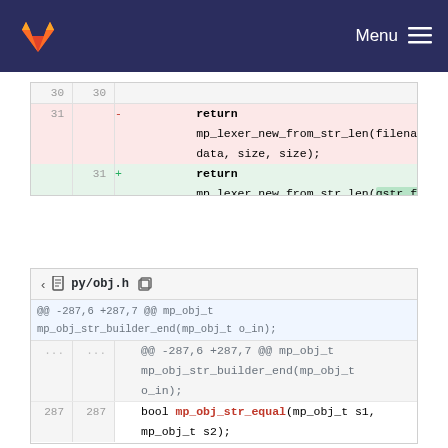GitLab Menu
[Figure (screenshot): GitLab diff view showing code changes in two files. First diff block shows line 31 deleted (return mp_lexer_new_from_str_len(filename, data, size, size);) and replaced with return mp_lexer_new_from_str_len(qstr_from_str(filename), data, size, size);. Second diff block shows py/obj.h with hunk header @@ -287,6 +287,7 @@ mp_obj_t mp_obj_str_builder_end(mp_obj_t o_in); and line 287 bool mp_obj_str_equal(mp_obj_t s1, mp_obj_t s2);]